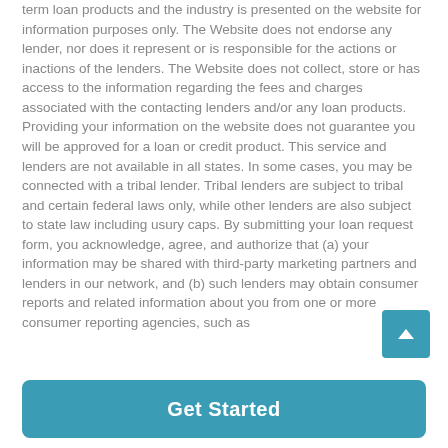term loan products and the industry is presented on the website for information purposes only. The Website does not endorse any lender, nor does it represent or is responsible for the actions or inactions of the lenders. The Website does not collect, store or has access to the information regarding the fees and charges associated with the contacting lenders and/or any loan products. Providing your information on the website does not guarantee you will be approved for a loan or credit product. This service and lenders are not available in all states. In some cases, you may be connected with a tribal lender. Tribal lenders are subject to tribal and certain federal laws only, while other lenders are also subject to state law including usury caps. By submitting your loan request form, you acknowledge, agree, and authorize that (a) your information may be shared with third-party marketing partners and lenders in our network, and (b) such lenders may obtain consumer reports and related information about you from one or more consumer reporting agencies, such as
Get Started